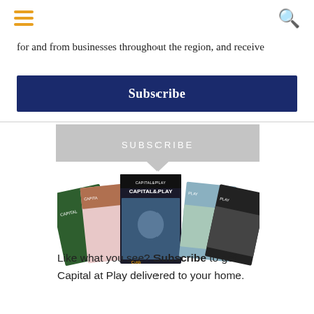≡ (menu icon) and 🔍 (search icon)
for and from businesses throughout the region, and receive
Subscribe
SUBSCRIBE
[Figure (photo): Fan of Capital at Play and Capital magazine covers displayed side by side]
Like what you see? Subscribe to get Capital at Play delivered to your home.